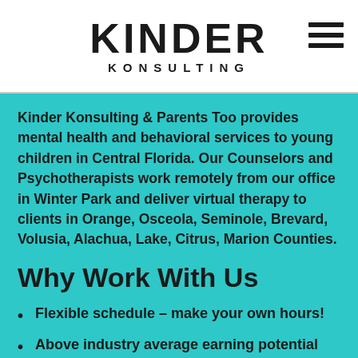KINDER
KONSULTING
Kinder Konsulting & Parents Too provides mental health and behavioral services to young children in Central Florida. Our Counselors and Psychotherapists work remotely from our office in Winter Park and deliver virtual therapy to clients in Orange, Osceola, Seminole, Brevard, Volusia, Alachua, Lake, Citrus, Marion Counties.
Why Work With Us
Flexible schedule – make your own hours!
Above industry average earning potential for motivated clinicians
Fully EMR-based system – less paper equals more